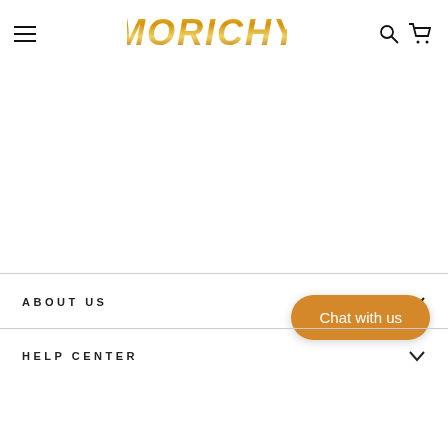MORICHY
ABOUT US
Chat with us
HELP CENTER